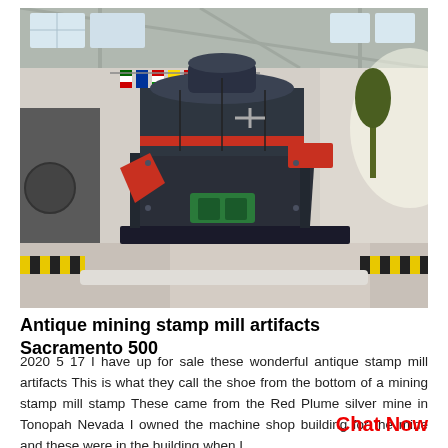[Figure (photo): A large industrial mining mill machine (stamp mill / grinding mill) in a warehouse or factory floor. The machine is cylindrical, dark grey with red accents, with colorful flags hanging in the background and yellow-black safety stripes on the floor.]
Antique mining stamp mill artifacts Sacramento 500
2020 5 17 I have up for sale these wonderful antique stamp mill artifacts This is what they call the shoe from the bottom of a mining stamp mill stamp These came from the Red Plume silver mine in Tonopah Nevada I owned the machine shop building for the mine and these were in the building when I
Chat Now